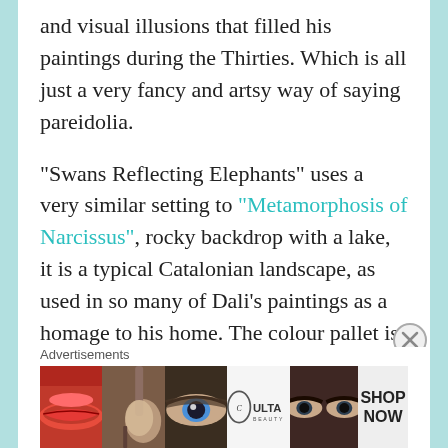and visual illusions that filled his paintings during the Thirties.  Which is all just a very fancy and artsy way of saying pareidolia.
“Swans Reflecting Elephants” uses a very similar setting to “Metamorphosis of Narcissus”, rocky backdrop with a lake, it is a typical Catalonian landscape, as used in so many of Dali’s paintings as a homage to his home.  The colour pallet is that of a fiery autumnal hue, and in the brushwork of the cliffs are swirls in a direct contract to the stillness of the water on the lake.  At first glance of the picture, you notice three swans on a lake, which bare trees behind them
Advertisements
[Figure (photo): Advertisement banner for ULTA beauty showing close-up photos of lips with red lipstick, makeup brushes, eye with eyeshadow, ULTA beauty logo, eyes with dark eye makeup, and SHOP NOW text panel]